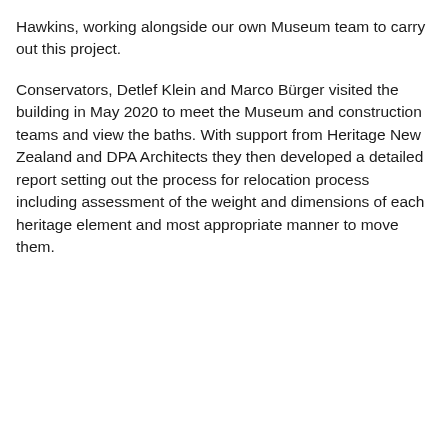Hawkins, working alongside our own Museum team to carry out this project.
Conservators, Detlef Klein and Marco Bürger visited the building in May 2020 to meet the Museum and construction teams and view the baths. With support from Heritage New Zealand and DPA Architects they then developed a detailed report setting out the process for relocation process including assessment of the weight and dimensions of each heritage element and most appropriate manner to move them.